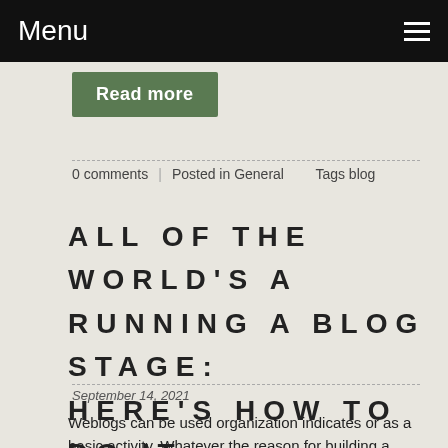Menu
Read more
0 comments | Posted in General | Tags blog
ALL OF THE WORLD'S A RUNNING A BLOG STAGE: HERE'S HOW TO DO IT RIGHT!
September 14, 2021
Weblogs can be used organization indicates or as a basic activity. Whatever the reason for building a website, it could be a writing, computerized log, which